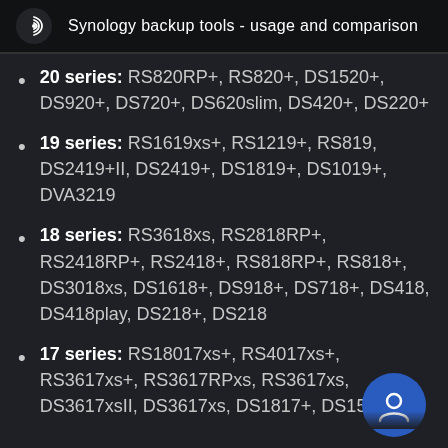Synology backup tools - usage and comparison
20 series: RS820RP+, RS820+, DS1520+, DS920+, DS720+, DS620slim, DS420+, DS220+
19 series: RS1619xs+, RS1219+, RS819, DS2419+II, DS2419+, DS1819+, DS1019+, DVA3219
18 series: RS3618xs, RS2818RP+, RS2418RP+, RS2418+, RS818RP+, RS818+, DS3018xs, DS1618+, DS918+, DS718+, DS418, DS418play, DS218+, DS218
17 series: RS18017xs+, RS4017xs+, RS3617xs+, RS3617RPxs, RS3617xs, DS3617xsII, DS3617xs, DS1817+, DS1517+